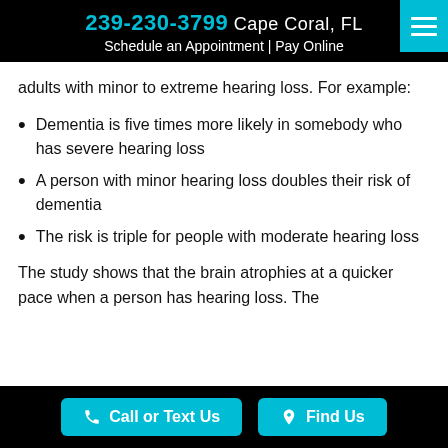239-230-3799 Cape Coral, FL Schedule an Appointment | Pay Online
adults with minor to extreme hearing loss. For example:
Dementia is five times more likely in somebody who has severe hearing loss
A person with minor hearing loss doubles their risk of dementia
The risk is triple for people with moderate hearing loss
The study shows that the brain atrophies at a quicker pace when a person has hearing loss. The
Call or Text Us   Find Us